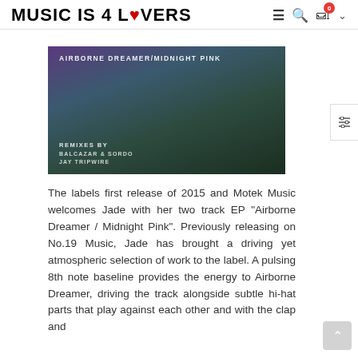MUSIC IS 4 LOVERS
[Figure (illustration): Album artwork for 'Airborne Dreamer / Midnight Pink' by Jade on Motek Music. Dark atmospheric landscape with purple and teal tones. Text reads: AIRBORNE DREAMER/MIDNIGHT PINK, REMIXES BY, BALCAZAR & SORDO, JAY TRIPWIRE]
The labels first release of 2015 and Motek Music welcomes Jade with her two track EP "Airborne Dreamer / Midnight Pink". Previously releasing on No.19 Music, Jade has brought a driving yet atmospheric selection of work to the label. A pulsing 8th note baseline provides the energy to Airborne Dreamer, driving the track alongside subtle hi-hat parts that play against each other and with the clap and